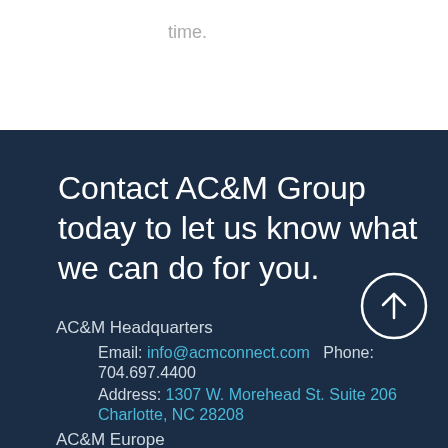time.
Contact AC&M Group today to let us know what we can do for you.
AC&M Headquarters
Email: info@acmconnect.com  Phone: 704.697.4400
Address: 1307 W. Morehead St. Suite 206 Charlotte, NC 28208
AC&M Europe